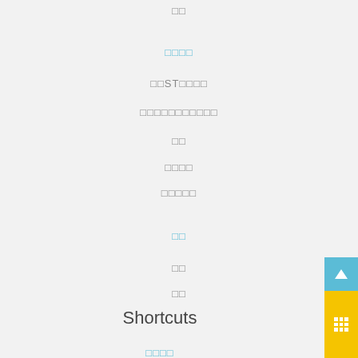□□
□□□□
□□ST□□□□
□□□□□□□□□□□
□□
□□□□
□□□□□
□□
□□
□□
Shortcuts
□□□□